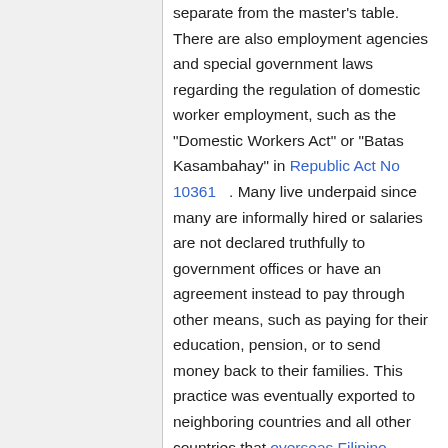separate from the master's table. There are also employment agencies and special government laws regarding the regulation of domestic worker employment, such as the "Domestic Workers Act" or "Batas Kasambahay" in Republic Act No 10361   . Many live underpaid since many are informally hired or salaries are not declared truthfully to government offices or have an agreement instead to pay through other means, such as paying for their education, pension, or to send money back to their families. This practice was eventually exported to neighboring countries and all other countries that overseas Filipino workers (OFWs) have worked in, such as the United States, Canada, Hong Kong, Singapore, China, Saudi Arabia, and other countries in the Middle East, etc., hence some